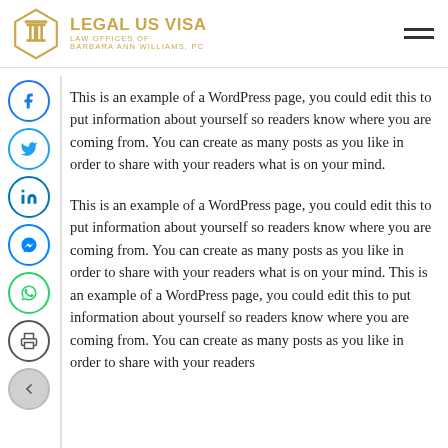LEGAL US VISA — LAW OFFICES OF BARBARA ANN WILLIAMS, PC
This is an example of a WordPress page, you could edit this to put information about yourself so readers know where you are coming from. You can create as many posts as you like in order to share with your readers what is on your mind.
This is an example of a WordPress page, you could edit this to put information about yourself so readers know where you are coming from. You can create as many posts as you like in order to share with your readers what is on your mind. This is an example of a WordPress page, you could edit this to put information about yourself so readers know where you are coming from. You can create as many posts as you like in order to share with your readers